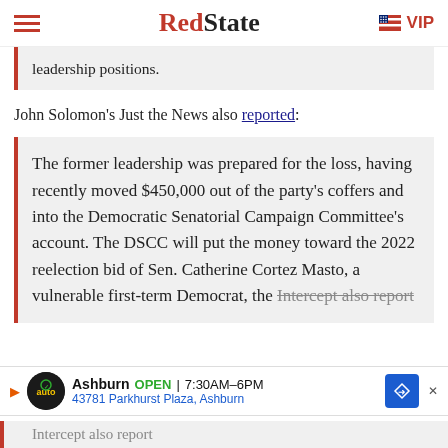RedState | VIP
leadership positions.
John Solomon's Just the News also reported:
The former leadership was prepared for the loss, having recently moved $450,000 out of the party's coffers and into the Democratic Senatorial Campaign Committee's account. The DSCC will put the money toward the 2022 reelection bid of Sen. Catherine Cortez Masto, a vulnerable first-term Democrat, the Intercept also report...